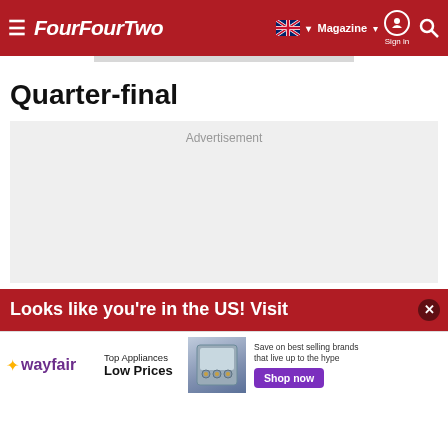FourFourTwo — Magazine | Sign in | Search
Quarter-final
[Figure (other): Advertisement placeholder box with light gray background]
Looks like you're in the US! Visit
[Figure (other): Wayfair advertisement banner: Top Appliances Low Prices, Save on best selling brands that live up to the hype, Shop now button]